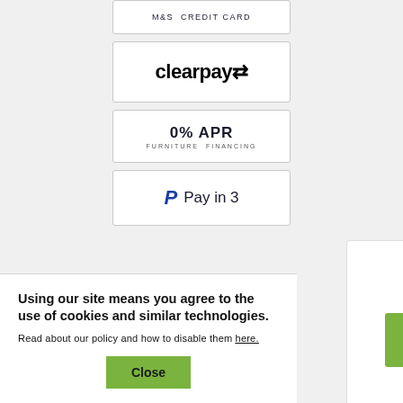[Figure (logo): M&S Credit Card payment option button - partially visible at top]
[Figure (logo): Clearpay payment option button with clearpay logo and arrow icon]
[Figure (logo): 0% APR Furniture Financing payment option button]
[Figure (logo): PayPal Pay in 3 payment option button with PayPal P logo]
Using our site means you agree to the use of cookies and similar technologies.
Read about our policy and how to disable them here.